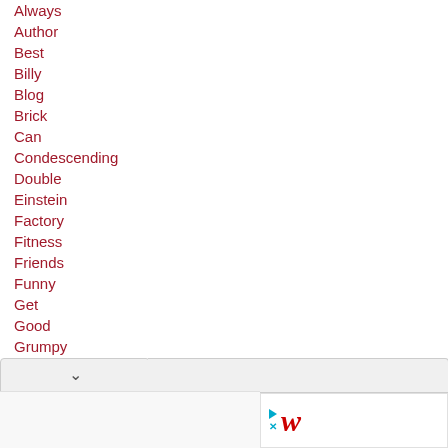Always
Author
Best
Billy
Blog
Brick
Can
Condescending
Double
Einstein
Factory
Fitness
Friends
Funny
Get
Good
Grumpy
[Figure (screenshot): Walgreens advertisement banner with play and close icons]